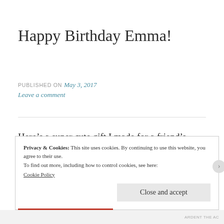Happy Birthday Emma!
PUBLISHED ON May 3, 2017
Leave a comment
Here’s a super cute gift I made for a friend’s daughter.  Nothing too fancy, but that is what I like about it.  I used the Curvy Keepsake Box Thinlits Die which you
Privacy & Cookies: This site uses cookies. By continuing to use this website, you agree to their use.
To find out more, including how to control cookies, see here:
Cookie Policy
Close and accept